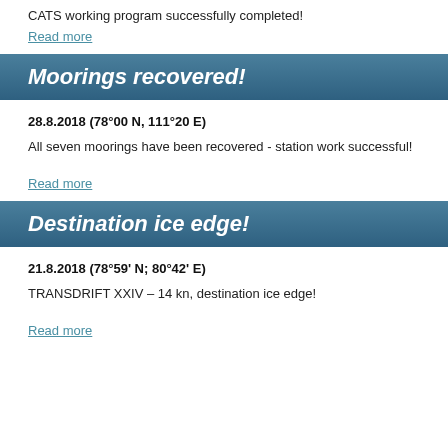CATS working program successfully completed!
Read more
Moorings recovered!
28.8.2018 (78°00 N, 111°20 E)
All seven moorings have been recovered - station work successful!
Read more
Destination ice edge!
21.8.2018 (78°59' N; 80°42' E)
TRANSDRIFT XXIV – 14 kn, destination ice edge!
Read more